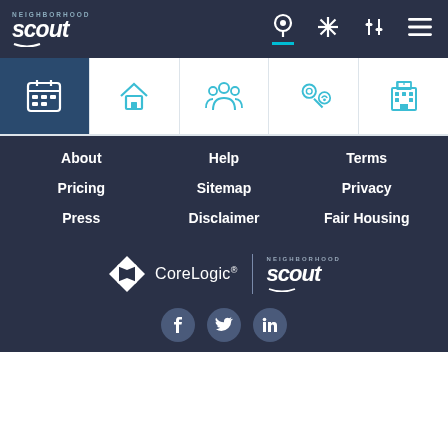[Figure (logo): Neighborhood Scout logo in top navigation bar]
[Figure (screenshot): Navigation icon tab bar with calendar, home, people, location pin, and building icons]
About
Help
Terms
Pricing
Sitemap
Privacy
Press
Disclaimer
Fair Housing
[Figure (logo): CoreLogic and Neighborhood Scout combined logo]
[Figure (infographic): Social media icons: Facebook, Twitter, LinkedIn]